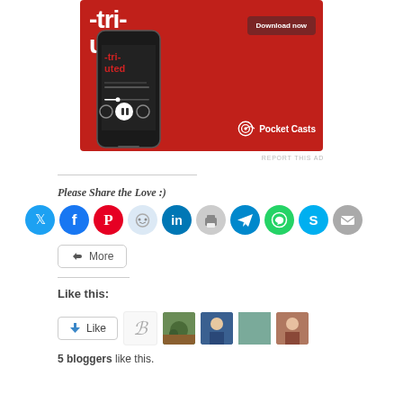[Figure (advertisement): Pocket Casts app advertisement on red background showing a smartphone with podcast player UI, 'Download now' button, and Pocket Casts logo.]
REPORT THIS AD
Please Share the Love :)
[Figure (infographic): Row of social media share icon buttons: Twitter (blue), Facebook (blue), Pinterest (red), Reddit (light blue), LinkedIn (dark blue), Print (gray), Telegram (blue), WhatsApp (green), Skype (blue), Email (gray)]
More
Like this:
[Figure (infographic): Like button widget and 5 blogger avatar images]
5 bloggers like this.